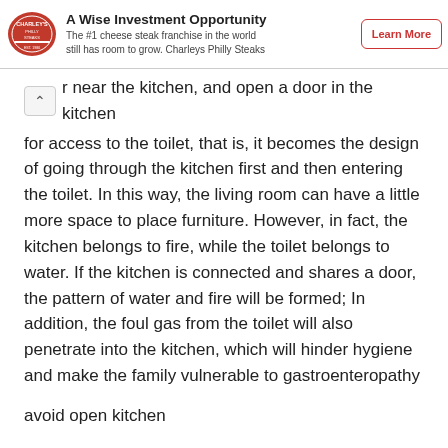[Figure (logo): Charleys Philly Steaks advertisement banner with logo, title 'A Wise Investment Opportunity', subtitle text, and 'Learn More' button]
r near the kitchen, and open a door in the kitchen for access to the toilet, that is, it becomes the design of going through the kitchen first and then entering the toilet. In this way, the living room can have a little more space to place furniture. However, in fact, the kitchen belongs to fire, while the toilet belongs to water. If the kitchen is connected and shares a door, the pattern of water and fire will be formed; In addition, the foul gas from the toilet will also penetrate into the kitchen, which will hinder hygiene and make the family vulnerable to gastroenteropathy
avoid open kitchen